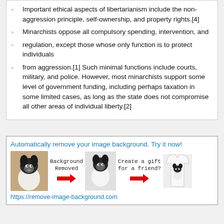Important ethical aspects of libertarianism include the non-aggression principle, self-ownership, and property rights.[4]
Minarchists oppose all compulsory spending, intervention, and
regulation, except those whose only function is to protect individuals
from aggression.[1] Such minimal functions include courts, military, and police. However, most minarchists support some level of government funding, including perhaps taxation in some limited cases, as long as the state does not compromise all other areas of individual liberty.[2]
[Figure (infographic): Advertisement banner: 'Automatically remove your image background. Try it now!' showing a dog photo, arrow, dog with background removed, arrow, shirt with dog printed on it. URL: https://remove-image-background.com]